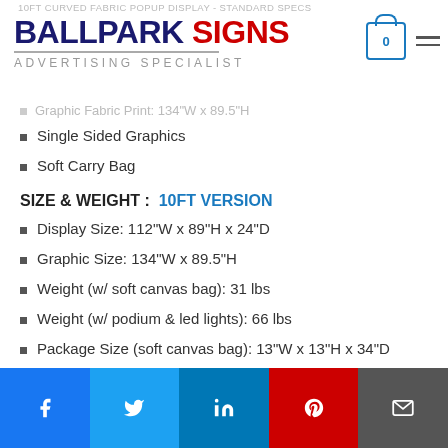10FT CURVED FABRIC POPUP DISPLAY - STANDARD SPECS
[Figure (logo): Ballpark Signs logo with BALLPARK in dark blue bold and SIGNS in red bold, subtitle ADVERTISING SPECIALIST in gray]
Graphic Fabric Print: 134"W x 89.5"H
Single Sided Graphics
Soft Carry Bag
SIZE & WEIGHT :   10FT VERSION
Display Size: 112"W x 89"H x 24"D
Graphic Size: 134"W x 89.5"H
Weight (w/ soft canvas bag): 31 lbs
Weight (w/ podium & led lights): 66 lbs
Package Size (soft canvas bag): 13"W x 13"H x 34"D
Package Size (hard case): 40"W x 21"H x 17"D
DISPLAY PLACEMENT AREAS